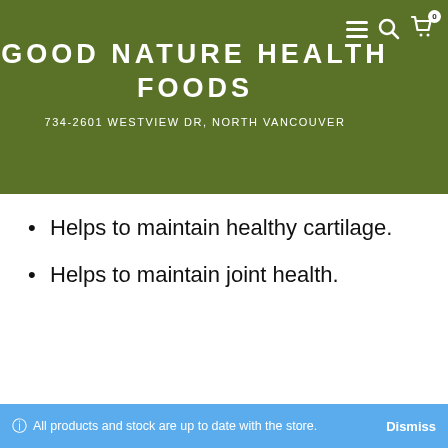GOOD NATURE HEALTH FOODS
734-2601 WESTVIEW DR, NORTH VANCOUVER
Helps to maintain healthy cartilage.
Helps to maintain joint health.
Each tablet contains:
Medicinal ingredients
Glucosamine hydrochloride   500
(crab and shrimp exoskeleton)   mg
ⓘ All products and stock are up to date with the store.   Dismiss